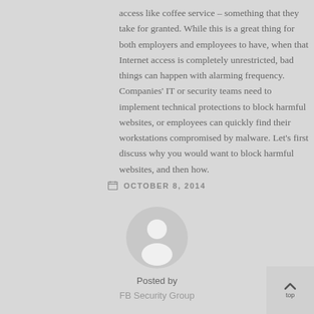access like coffee service – something that they take for granted. While this is a great thing for both employers and employees to have, when that Internet access is completely unrestricted, bad things can happen with alarming frequency. Companies' IT or security teams need to implement technical protections to block harmful websites, or employees can quickly find their workstations compromised by malware. Let's first discuss why you would want to block harmful websites, and then how.
OCTOBER 8, 2014
[Figure (illustration): Generic user avatar — a circular grey badge showing a white silhouetted person (head and shoulders)]
Posted by
FB Security Group